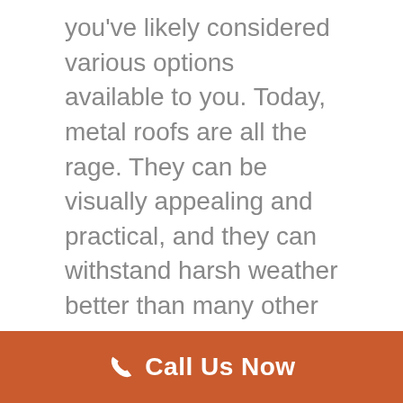you've likely considered various options available to you. Today, metal roofs are all the rage. They can be visually appealing and practical, and they can withstand harsh weather better than many other types of roofing. But how much does a metal roof cost?
In this post, our dependable roofing experts at Nelson Contracting in Omaha, NE, will detail how much metal roofing typically costs and the various factors that will affect their cost.
[Figure (other): Orange call-to-action banner with phone icon and text 'Call Us Now']